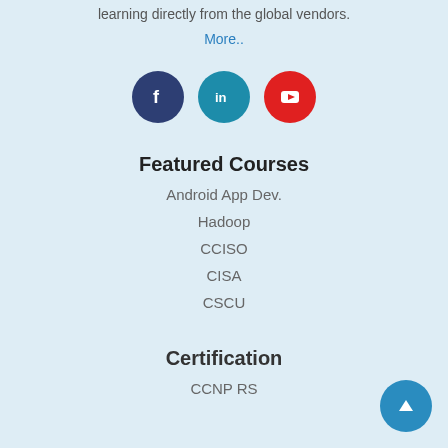learning directly from the global vendors.
More..
[Figure (other): Social media icons: Facebook (dark blue circle), LinkedIn (teal circle), YouTube (red circle)]
Featured Courses
Android App Dev.
Hadoop
CCISO
CISA
CSCU
Certification
CCNP RS